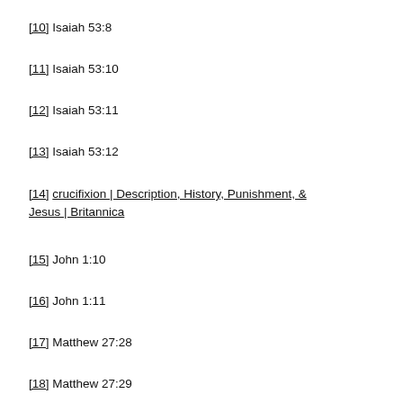[10] Isaiah 53:8
[11] Isaiah 53:10
[12] Isaiah 53:11
[13] Isaiah 53:12
[14] crucifixion | Description, History, Punishment, & Jesus | Britannica
[15] John 1:10
[16] John 1:11
[17] Matthew 27:28
[18] Matthew 27:29